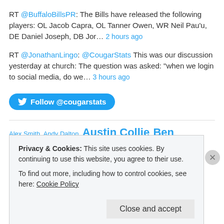RT @BuffaloBillsPR: The Bills have released the following players: OL Jacob Capra, OL Tanner Owen, WR Neil Pau'u, DE Daniel Joseph, DB Jor… 2 hours ago
RT @JonathanLingo: @CougarStats This was our discussion yesterday at church: The question was asked: "when we login to social media, do we… 3 hours ago
Follow @cougarstats
Alex Smith Andy Dalton Austin Collie Ben Archibald Blaine Fowler
Privacy & Cookies: This site uses cookies. By continuing to use this website, you agree to their use.
To find out more, including how to control cookies, see here: Cookie Policy
Close and accept